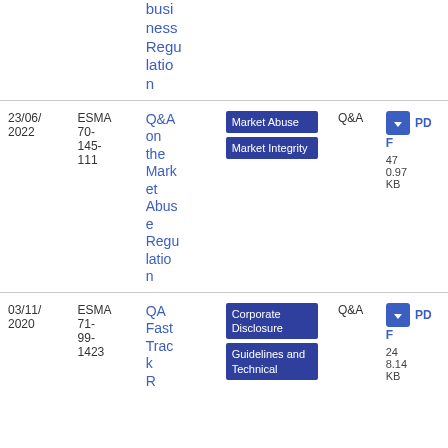| Date | Reference | Title | Tags | Type | Download |
| --- | --- | --- | --- | --- | --- |
|  |  | business Regulation |  |  |  |
| 23/06/2022 | ESMA 70-145-111 | Q&A on the Market Abuse Regulation | Market Abuse | Market Integrity | Q&A | PDF 470.97 KB |
| 03/11/2020 | ESMA 71-99-1423 | QA Fast Track... | Corporate Disclosure | Guidelines and Technical | Q&A | PDF 248.14 KB |